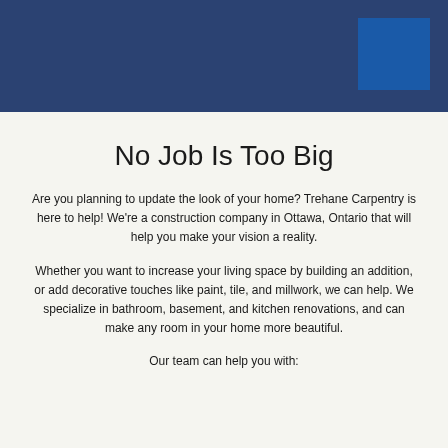[Figure (other): Dark navy blue header banner with a lighter blue square in the top-right corner]
No Job Is Too Big
Are you planning to update the look of your home? Trehane Carpentry is here to help! We're a construction company in Ottawa, Ontario that will help you make your vision a reality.
Whether you want to increase your living space by building an addition, or add decorative touches like paint, tile, and millwork, we can help. We specialize in bathroom, basement, and kitchen renovations, and can make any room in your home more beautiful.
Our team can help you with: